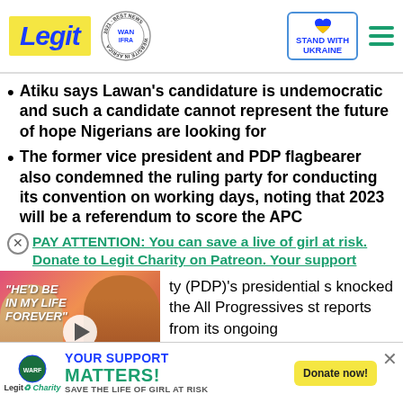[Figure (logo): Legit.ng logo with yellow background, WAN IFRA 2021 Best News Website in Africa badge, Stand with Ukraine box with heart, hamburger menu icon]
Atiku says Lawan's candidature is undemocratic and such a candidate cannot represent the future of hope Nigerians are looking for
The former vice president and PDP flagbearer also condemned the ruling party for conducting its convention on working days, noting that 2023 will be a referendum to score the APC
PAY ATTENTION: You can save a live of girl at risk. Donate to Legit Charity on Patreon. Your support
[Figure (photo): Video thumbnail showing a woman and a man in a brown jacket with text HE'D BE IN MY LIFE FOREVER and a play button]
ty (PDP)'s presidential s knocked the All Progressives st reports from its ongoing
[Figure (infographic): Advertisement banner for Legit Charity: YOUR SUPPORT MATTERS! SAVE THE LIFE OF GIRL AT RISK with Donate now button]